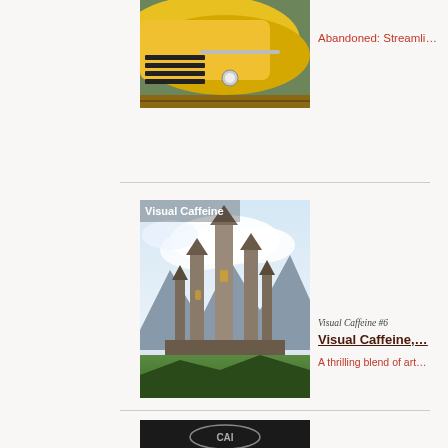[Figure (photo): Yellow streamlined vintage car lying on grass, partial view showing hood and front end]
Abandoned: Streamli…
[Figure (photo): Fantasy illustration of tall gothic spire castle with mountains and clouds, labeled 'Visual Caffeine']
Visual Caffeine #6
Visual Caffeine,…
A thrilling blend of art…
[Figure (photo): Black and white photo of vintage car dashboard with multiple gauges and steering wheel]
Visual Caffeine #5
Visual Caffeine,…
A thrilling blend of art…